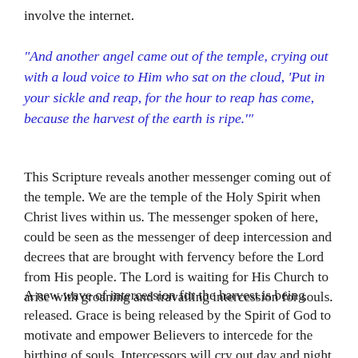involve the internet.
“And another angel came out of the temple, crying out with a loud voice to Him who sat on the cloud, ‘Put in your sickle and reap, for the hour to reap has come, because the harvest of the earth is ripe.’”
This Scripture reveals another messenger coming out of the temple. We are the temple of the Holy Spirit when Christ lives within us. The messenger spoken of here, could be seen as the messenger of deep intercession and decrees that are brought with fervency before the Lord from His people. The Lord is waiting for His Church to arise with groaning and travailing intercession for souls.
A new wave of intercession for the harvest is being released. Grace is being released by the Spirit of God to motivate and empower Believers to intercede for the birthing of souls. Intercessors will cry out day and night for souls. Many